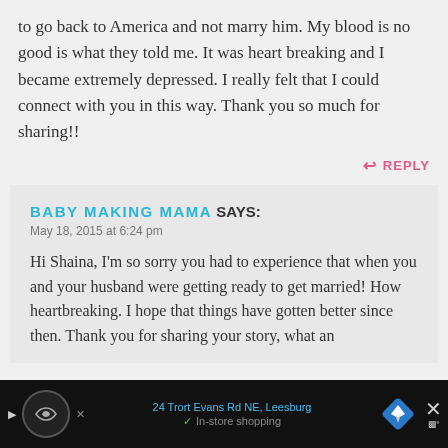to go back to America and not marry him. My blood is no good is what they told me. It was heart breaking and I became extremely depressed. I really felt that I could connect with you in this way. Thank you so much for sharing!!
REPLY
BABY MAKING MAMA SAYS:
May 18, 2015 at 6:24 pm
Hi Shaina, I'm so sorry you had to experience that when you and your husband were getting ready to get married! How heartbreaking. I hope that things have gotten better since then. Thank you for sharing your story, what an
[Figure (other): Mobile advertisement bar at bottom of screen showing navigation app ad with address '24 Trort Evans Rd NE, Leesburg', in-store shopping text, navigation arrow icon, and close button]